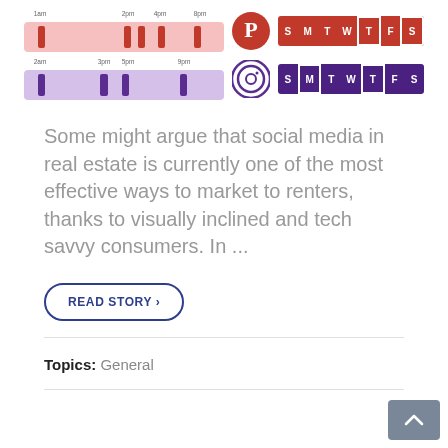[Figure (infographic): Social media posting time infographic showing Pinterest and Instagram optimal posting times as timeline bars with day-of-week grids]
Some might argue that social media in real estate is currently one of the most effective ways to market to renters, thanks to visually inclined and tech savvy consumers. In ...
READ STORY >
Topics: General